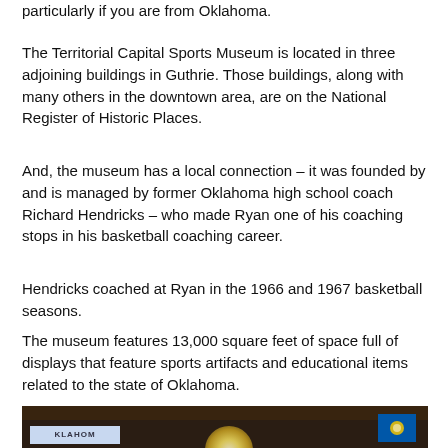particularly if you are from Oklahoma.
The Territorial Capital Sports Museum is located in three adjoining buildings in Guthrie. Those buildings, along with many others in the downtown area, are on the National Register of Historic Places.
And, the museum has a local connection – it was founded by and is managed by former Oklahoma high school coach Richard Hendricks – who made Ryan one of his coaching stops in his basketball coaching career.
Hendricks coached at Ryan in the 1966 and 1967 basketball seasons.
The museum features 13,000 square feet of space full of displays that feature sports artifacts and educational items related to the state of Oklahoma.
[Figure (photo): Interior photo of the Territorial Capital Sports Museum showing a dark wooden ceiling, a bright light glowing in the center, an Oklahoma state flag on the right, and a banner or sign at the bottom left.]